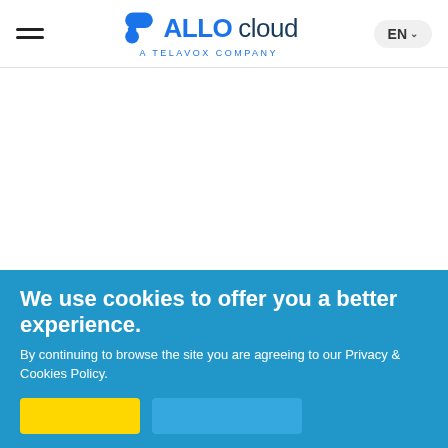ALLOcloud — a TELAVOX company — EN
[Figure (logo): ALLOcloud logo with speech bubble icon and 'a TELAVOX company' subtitle]
The User Portal is a web tool that allows a user to manage
We use cookies to offer you a better experience. By continuing to browse the site you are agreeing to our Privacy & Cookies Policy.